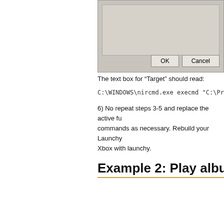[Figure (screenshot): Partial Windows dialog box showing a gray panel with an inner input area, and OK and Cancel buttons at the bottom right.]
The text box for “Target” should read:
C:\WINDOWS\nircmd.exe execmd "C:\Program
6) No repeat steps 3-5 and replace the active fu commands as necessary. Rebuild your Launchy Xbox with launchy.
Example 2: Play album